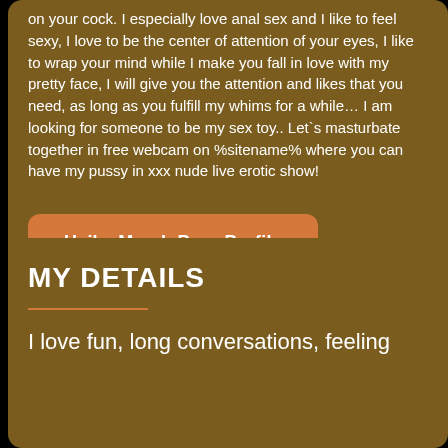on your cock. I especially love anal sex and I like to feel sexy, I love to be the center of attention of your eyes, I like to wrap your mind while I make you fall in love with my pretty face, I will give you the attention and likes that you need, as long as you fulfill my whims for a while... I am looking for someone to be my sex toy.. Let`s masturbate together in free webcam on %sitename% where you can have my pussy in xxx nude live erotic show!
HaileyMarsh Porn Profile
MY DETAILS
I love fun, long conversations, feeling